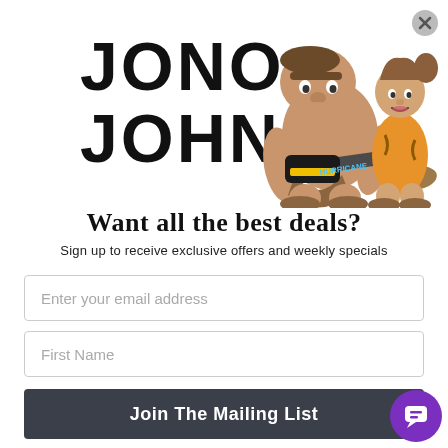[Figure (illustration): Jono & Johno logo with cartoon caveman and cavewoman characters. The caveman is large and stocky holding a Hurricane brand chainsaw, and the cavewoman stands behind him. Text reads JONO & JOHNO in bold black letters.]
Want all the best deals?
Sign up to receive exclusive offers and weekly specials
Enter your email address
First Name
Join The Mailing List